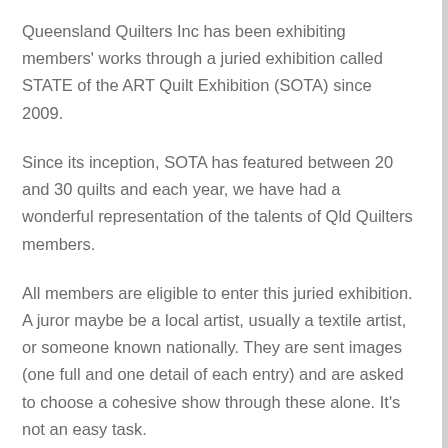Queensland Quilters Inc has been exhibiting members' works through a juried exhibition called STATE of the ART Quilt Exhibition (SOTA) since 2009.
Since its inception, SOTA has featured between 20 and 30 quilts and each year, we have had a wonderful representation of the talents of Qld Quilters members.
All members are eligible to enter this juried exhibition. A juror maybe be a local artist, usually a textile artist, or someone known nationally. They are sent images (one full and one detail of each entry) and are asked to choose a cohesive show through these alone. It's not an easy task.